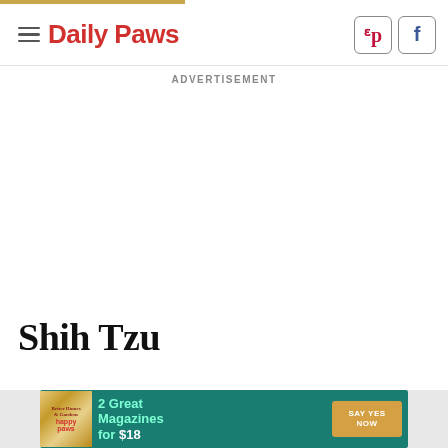Daily Paws
ADVERTISEMENT
Shih Tzu
[Figure (infographic): Advertisement banner for Better Homes & Gardens and Happy Paws magazines: '2 Great Magazines for $18' with a 'SAY YES NOW' button on teal/dark green background]